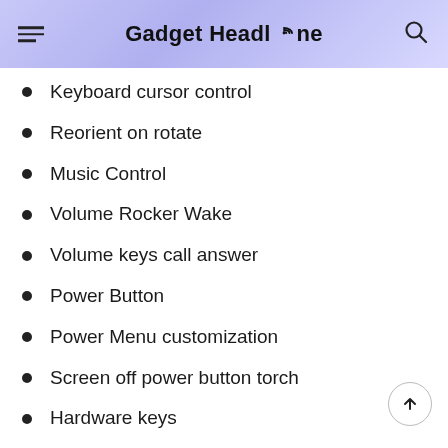Gadget Headline
Keyboard cursor control
Reorient on rotate
Music Control
Volume Rocker Wake
Volume keys call answer
Power Button
Power Menu customization
Screen off power button torch
Hardware keys
Disable keys